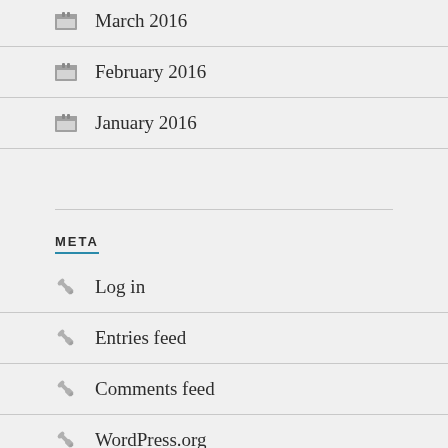March 2016
February 2016
January 2016
META
Log in
Entries feed
Comments feed
WordPress.org